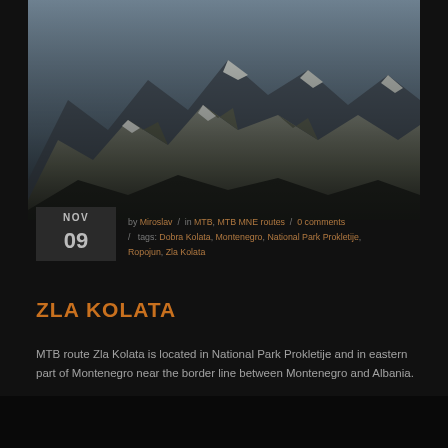[Figure (photo): Mountain landscape photo showing rocky peaks with snow, dark atmospheric image of National Park Prokletije mountains]
NOV
09
by Miroslav / in MTB, MTB MNE routes / 0 comments / tags: Dobra Kolata, Montenegro, National Park Prokletije, Ropojun, Zla Kolata
ZLA KOLATA
MTB route Zla Kolata is located in National Park Prokletije and in eastern part of Montenegro near the border line between Montenegro and Albania.
READ MORE